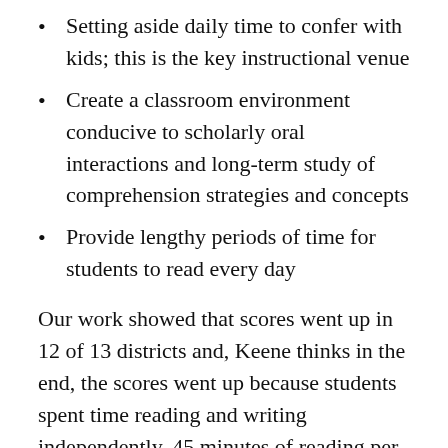Setting aside daily time to confer with kids; this is the key instructional venue
Create a classroom environment conducive to scholarly oral interactions and long-term study of comprehension strategies and concepts
Provide lengthy periods of time for students to read every day
Our work showed that scores went up in 12 of 13 districts and, Keene thinks in the end, the scores went up because students spent time reading and writing independently. 45 minutes of reading per day in kindergarten with 60 minutes of reading in grades above that (along with 45 minutes of writing). The success rate in